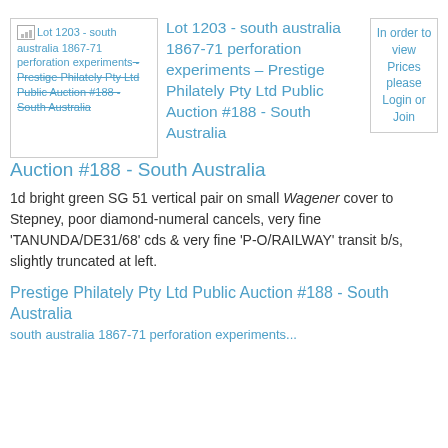[Figure (other): Thumbnail image placeholder for Lot 1203 - south australia 1867-71 perforation experiments - Prestige Philately Pty Ltd Public Auction #188 - South Australia]
Lot 1203 - south australia 1867-71 perforation experiments - Prestige Philately Pty Ltd Public Auction #188 - South Australia
In order to view Prices please Login or Join
Lot 1203 - south australia 1867-71 perforation experiments - Prestige Philately Pty Ltd Public Auction #188 - South Australia
1d bright green SG 51 vertical pair on small Wagener cover to Stepney, poor diamond-numeral cancels, very fine 'TANUNDA/DE31/68' cds & very fine 'P-O/RAILWAY' transit b/s, slightly truncated at left.
Prestige Philately Pty Ltd Public Auction #188 - South Australia
south australia 1867-71 perforation experiments